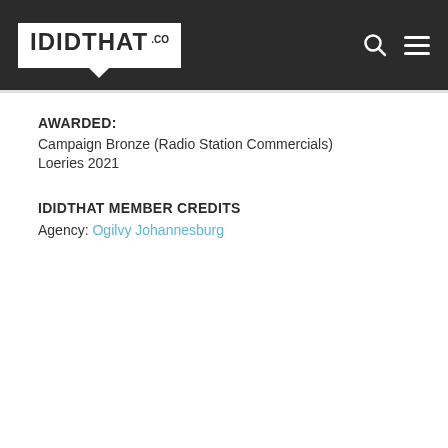[Figure (logo): IDIDTHAT.CO logo in white box on dark header bar]
AWARDED:
Campaign Bronze (Radio Station Commercials)
Loeries 2021
IDIDTHAT MEMBER CREDITS
Agency: Ogilvy Johannesburg